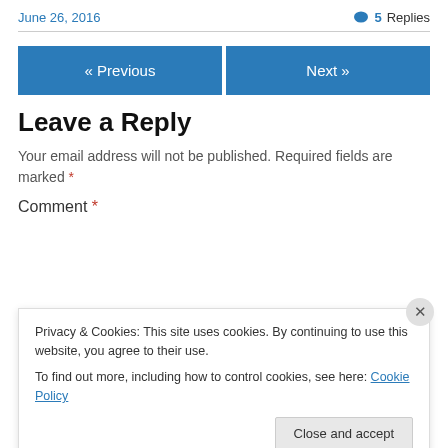June 26, 2016
5 Replies
« Previous
Next »
Leave a Reply
Your email address will not be published. Required fields are marked *
Comment *
Privacy & Cookies: This site uses cookies. By continuing to use this website, you agree to their use.
To find out more, including how to control cookies, see here: Cookie Policy
Close and accept